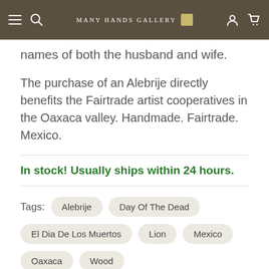Many Hands Gallery
names of both the husband and wife.
The purchase of an Alebrije directly benefits the Fairtrade artist cooperatives in the Oaxaca valley. Handmade. Fairtrade. Mexico.
In stock! Usually ships within 24 hours.
Tags: Alebrije · Day Of The Dead · El Dia De Los Muertos · Lion · Mexico · Oaxaca · Wood